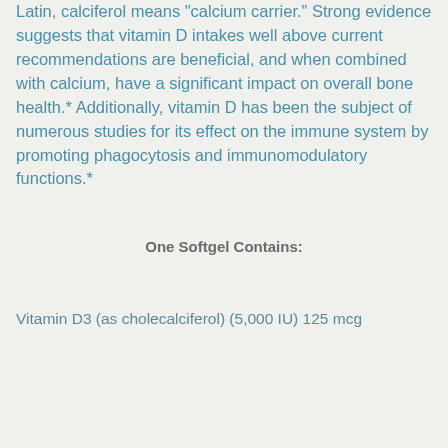Latin, calciferol means 'calcium carrier.' Strong evidence suggests that vitamin D intakes well above current recommendations are beneficial, and when combined with calcium, have a significant impact on overall bone health.* Additionally, vitamin D has been the subject of numerous studies for its effect on the immune system by promoting phagocytosis and immunomodulatory functions.*
One Softgel Contains:
Vitamin D3 (as cholecalciferol) (5,000 IU) 125 mcg